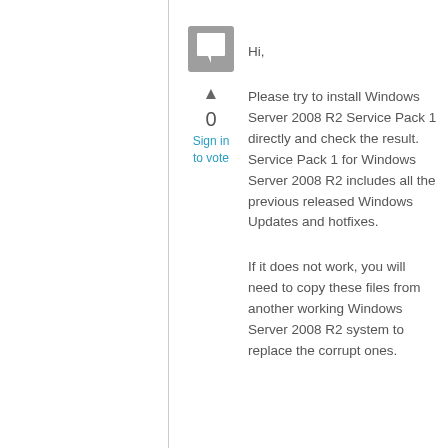[Figure (other): Grey speech/comment icon box]
0
Sign in to vote
Hi,
Please try to install Windows Server 2008 R2 Service Pack 1 directly and check the result. Service Pack 1 for Windows Server 2008 R2 includes all the previous released Windows Updates and hotfixes.
If it does not work, you will need to copy these files from another working Windows Server 2008 R2 system to replace the corrupt ones.